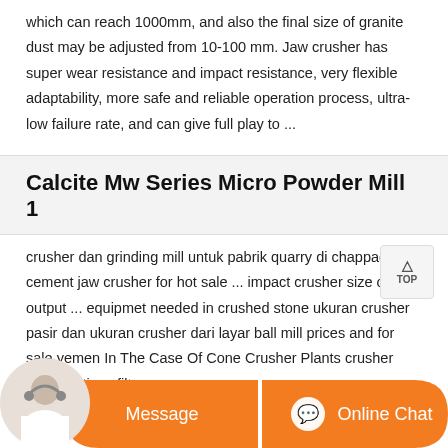which can reach 1000mm, and also the final size of granite dust may be adjusted from 10-100 mm. Jaw crusher has super wear resistance and impact resistance, very flexible adaptability, more safe and reliable operation process, ultra-low failure rate, and can give full play to ...
Calcite Mw Series Micro Powder Mill 1
crusher dan grinding mill untuk pabrik quarry di chappaqua cement jaw crusher for hot sale ... impact crusher size of output ... equipmet needed in crushed stone ukuran crusher pasir dan ukuran crusher dari layar ball mill prices and for sale yemen In The Case Of Cone Crusher Plants crusher specifications filter ...
[Figure (other): Chat bar with customer service avatar, Message button, and Online Chat button on orange background]